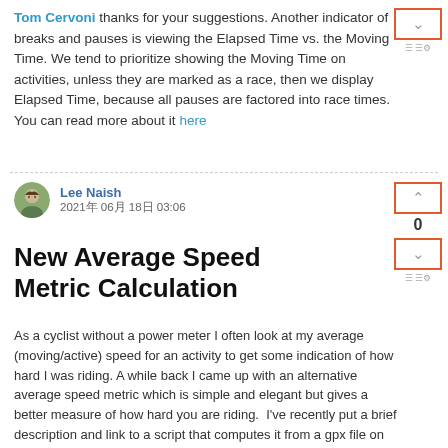Tom Cervoni thanks for your suggestions. Another indicator of breaks and pauses is viewing the Elapsed Time vs. the Moving Time. We tend to prioritize showing the Moving Time on activities, unless they are marked as a race, then we display Elapsed Time, because all pauses are factored into race times. You can read more about it here
Lee Naish
2021年 06月 18日 03:06
New Average Speed Metric Calculation
As a cyclist without a power meter I often look at my average (moving/active) speed for an activity to get some indication of how hard I was riding. A while back I came up with an alternative average speed metric which is simple and elegant but gives a better measure of how hard you are riding. I've recently put a brief description and link to a script that computes it from a gpx file on the web: https://people.eng.unimelb.edu.au/lee/src/posavespeed/ The general idea is that the normal average speed calculation gives